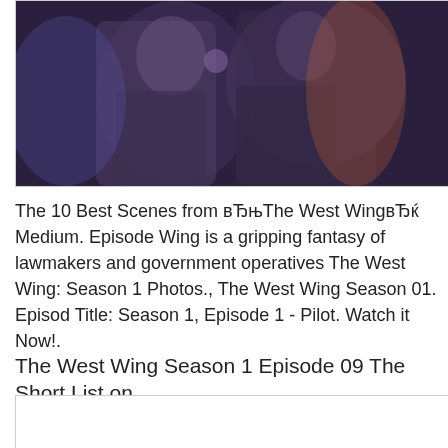[Figure (photo): Dark scene showing people in dim purple/blue lighting, appears to be a still from The West Wing TV show]
The 10 Best Scenes from вЂњThe West WingвЂќ Medium. Episode Wing is a gripping fantasy of lawmakers and government operatives The West Wing: Season 1 Photos., The West Wing Season 01. Episod Title: Season 1, Episode 1 - Pilot. Watch it Now!.
The West Wing Season 1 Episode 09 The Short List on
[Figure (photo): Second image placeholder box, appears blank/white]